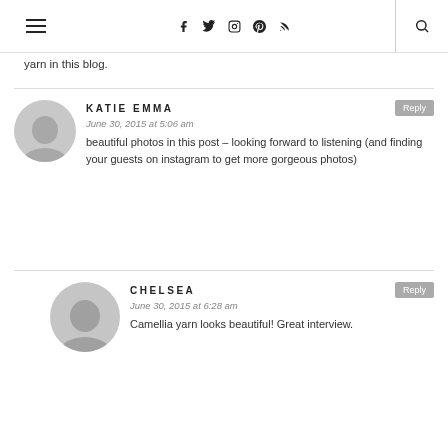Navigation header with menu, social icons (Facebook, Twitter, Instagram, Pinterest, RSS), and search
yarn in this blog.
KATIE EMMA
June 30, 2015 at 5:06 am
beautiful photos in this post – looking forward to listening (and finding your guests on instagram to get more gorgeous photos)
CHELSEA
June 30, 2015 at 6:28 am
Camellia yarn looks beautiful! Great interview.